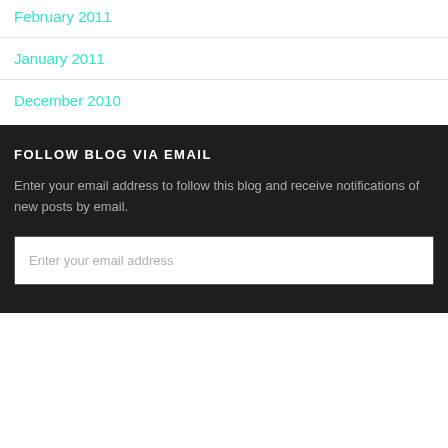February 2011
January 2011
December 2010
FOLLOW BLOG VIA EMAIL
Enter your email address to follow this blog and receive notifications of new posts by email.
Enter your email address